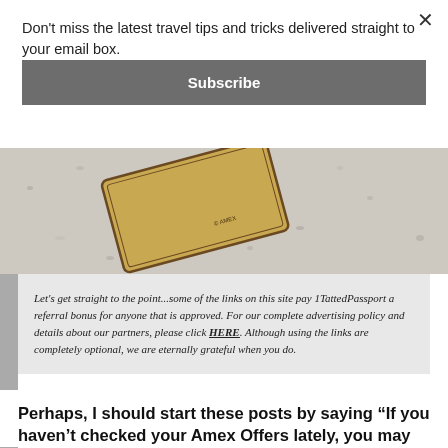Don't miss the latest travel tips and tricks delivered straight to your email box.
Subscribe
[Figure (photo): Close-up photo of a gold/tan credit card on a granite/stone countertop surface, card is oriented diagonally]
Let’s get straight to the point...some of the links on this site pay 1TattedPassport a referral bonus for anyone that is approved. For our complete advertising policy and details about our partners, please click HERE. Although using the links are completely optional, we are eternally grateful when you do.
Perhaps, I should start these posts by saying “If you haven’t checked your Amex Offers lately, you may